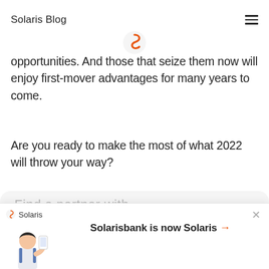Solaris Blog
[Figure (logo): Solaris orange circular logo mark centered near top of page]
opportunities. And those that seize them now will enjoy first-mover advantages for many years to come.
Are you ready to make the most of what 2022 will throw your way?
[Figure (infographic): Four circular social sharing icons in a row: Twitter, Facebook, LinkedIn, and link/copy icon]
[Figure (screenshot): Bottom card area showing partial text 'Fi...' likely beginning of a section heading]
[Figure (infographic): Notification bar at bottom: Solaris logo and brand name on left with person illustration, center text reads 'Solarisbank is now Solaris →', close X button on right]